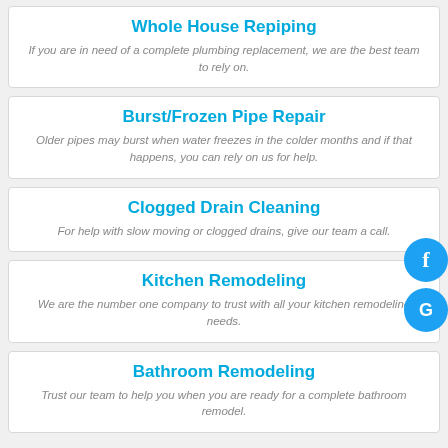Whole House Repiping
If you are in need of a complete plumbing replacement, we are the best team to rely on.
Burst/Frozen Pipe Repair
Older pipes may burst when water freezes in the colder months and if that happens, you can rely on us for help.
Clogged Drain Cleaning
For help with slow moving or clogged drains, give our team a call.
[Figure (other): Facebook social button (blue circle with 'f')]
[Figure (other): Google social button (blue circle with 'G')]
Kitchen Remodeling
We are the number one company to trust with all your kitchen remodeling needs.
Bathroom Remodeling
Trust our team to help you when you are ready for a complete bathroom remodel.